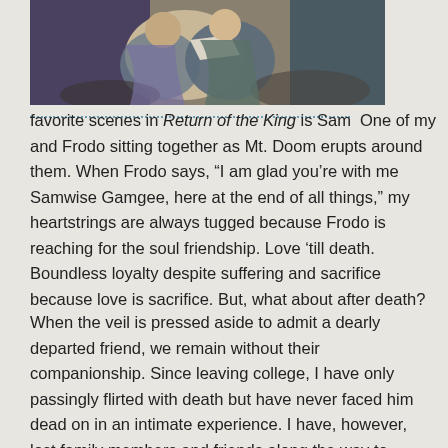[Figure (illustration): A painting or illustration showing two figures sitting together, appearing to be Sam and Frodo from Lord of the Rings, one holding a white cloth/paper, surrounded by dark/muted colors.]
One of my favorite scenes in Return of the King is Sam and Frodo sitting together as Mt. Doom erupts around them. When Frodo says, “I am glad you’re with me Samwise Gamgee, here at the end of all things,” my heartstrings are always tugged because Frodo is reaching for the soul friendship. Love ‘till death. Boundless loyalty despite suffering and sacrifice because love is sacrifice. But, what about after death?
When the veil is pressed aside to admit a dearly departed friend, we remain without their companionship. Since leaving college, I have only passingly flirted with death but have never faced him dead on in an intimate experience. I have, however, lost family members and friends along the way to